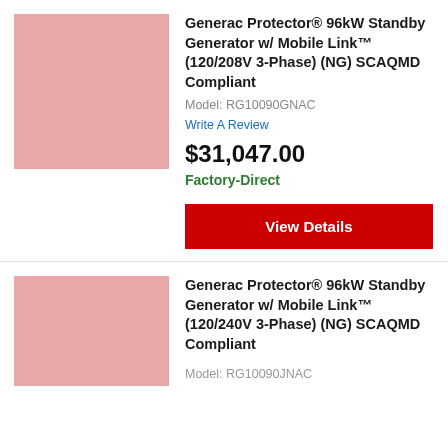[Figure (photo): Product image placeholder - pink/rose colored rectangle for Generac Protector 96kW generator]
Generac Protector® 96kW Standby Generator w/ Mobile Link™ (120/208V 3-Phase) (NG) SCAQMD Compliant
Model: RG10090GNAC
Write A Review
$31,047.00
Factory-Direct
View Details
[Figure (photo): Product image placeholder - pink/rose colored rectangle for Generac Protector 96kW generator (120/240V)]
Generac Protector® 96kW Standby Generator w/ Mobile Link™ (120/240V 3-Phase) (NG) SCAQMD Compliant
Model: RG10090JNAC